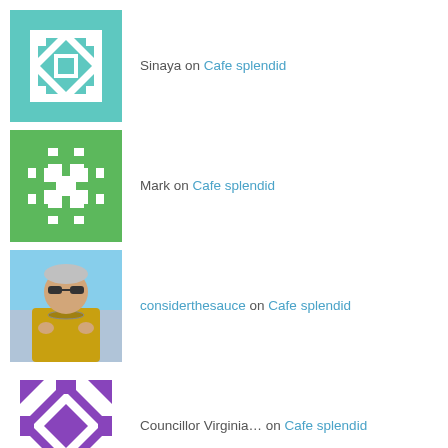Sinaya on Cafe splendid
Mark on Cafe splendid
considerthesauce on Cafe splendid
Councillor Virginia… on Cafe splendid
Juz on Veg Ethiopian makes our hearts…
Bec on Leaf it alone? No way!
considerthesauce on Hotpot with bells and whistles
twblacktopblues on Hotpot with bells and whistles